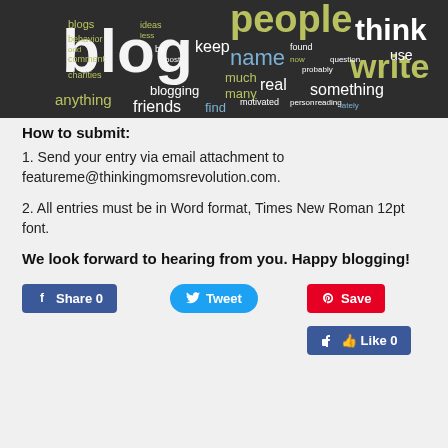[Figure (illustration): Word cloud on dark background featuring blogging-related words like 'blog', 'blogging', 'people', 'think', 'name', 'real', 'write', 'friends', 'anything', 'keep', 'much', 'many', 'something', 'use' in various colors including white, yellow-green, and blue on a dark charcoal background.]
How to submit:
1. Send your entry via email attachment to featureme@thinkingmomsrevolution.com.
2. All entries must be in Word format, Times New Roman 12pt font.
We look forward to hearing from you. Happy blogging!
[Figure (screenshot): Social media buttons: Facebook Share 0, Twitter Tweet, Pinterest Save, Facebook Like 0]